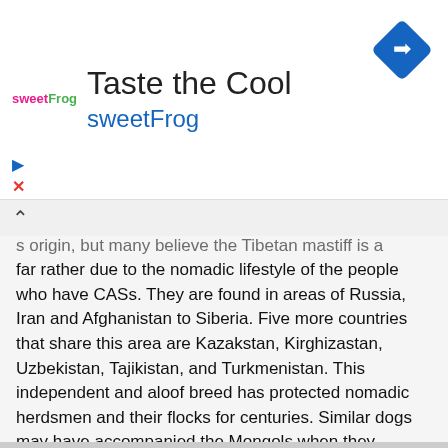[Figure (logo): sweetFrog advertisement banner with logo, 'Taste the Cool' title, 'sweetFrog' subtitle in blue, and a blue diamond navigation icon on the right]
...s origin, but many believe the Tibetan mastiff is a far rather due to the nomadic lifestyle of the people who have CASs. They are found in areas of Russia, Iran and Afghanistan to Siberia. Five more countries that share this area are Kazakstan, Kirghizastan, Uzbekistan, Tajikistan, and Turkmenistan. This independent and aloof breed has protected nomadic herdsmen and their flocks for centuries. Similar dogs may have accompanied the Mongols when they invaded Eastern and Central Europe, and were probably the source of Europe's herd-protecting sheepdogs. This breed is seldom seen outside the Central Asian Republic; in Russia it is in decline, losing favor to the larger Caucasian Sheepdog. The CAS is beginning to be bred in the USA.